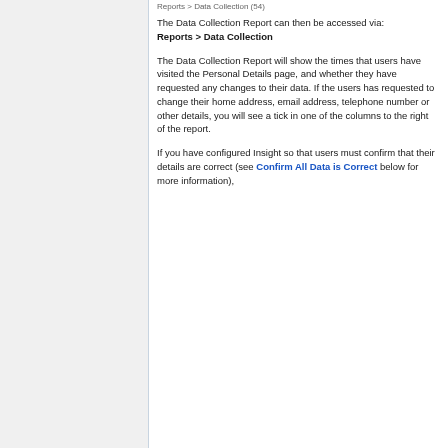Reports > Data Collection (54)
The Data Collection Report can then be accessed via:
Reports > Data Collection
The Data Collection Report will show the times that users have visited the Personal Details page, and whether they have requested any changes to their data. If the users has requested to change their home address, email address, telephone number or other details, you will see a tick in one of the columns to the right of the report.
If you have configured Insight so that users must confirm that their details are correct (see Confirm All Data is Correct below for more information),